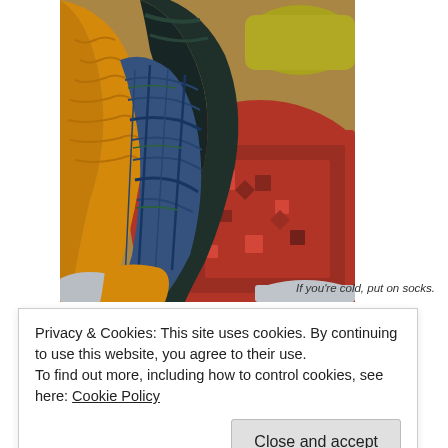[Figure (photo): Close-up photo of several pairs of knitted/woollen socks in various colors including mustard yellow, dark teal/black, and blue plaid patterns, resting on a patterned red rug or carpet.]
If you're cold, put on socks.
Privacy & Cookies: This site uses cookies. By continuing to use this website, you agree to their use.
To find out more, including how to control cookies, see here: Cookie Policy